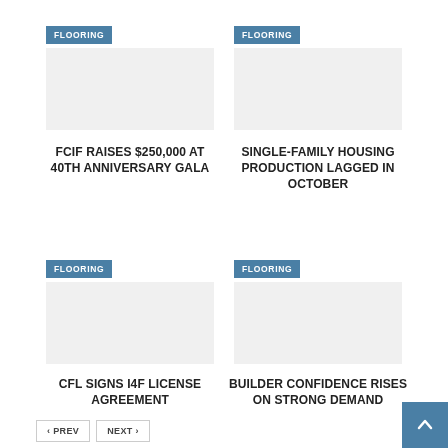FLOORING
FCIF RAISES $250,000 AT 40TH ANNIVERSARY GALA
FLOORING
SINGLE-FAMILY HOUSING PRODUCTION LAGGED IN OCTOBER
FLOORING
CFL SIGNS I4F LICENSE AGREEMENT
FLOORING
BUILDER CONFIDENCE RISES ON STRONG DEMAND
< PREV   NEXT >